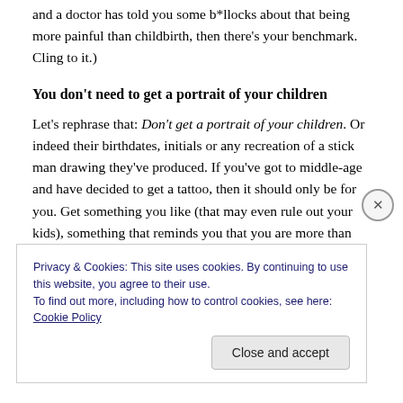and a doctor has told you some b*llocks about that being more painful than childbirth, then there's your benchmark. Cling to it.)
You don't need to get a portrait of your children
Let's rephrase that: Don't get a portrait of your children. Or indeed their birthdates, initials or any recreation of a stick man drawing they've produced. If you've got to middle-age and have decided to get a tattoo, then it should only be for you. Get something you like (that may even rule out your kids), something that reminds you that you are more than
Privacy & Cookies: This site uses cookies. By continuing to use this website, you agree to their use.
To find out more, including how to control cookies, see here: Cookie Policy
Close and accept